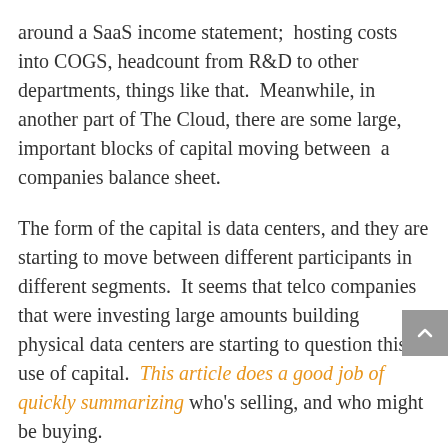around a SaaS income statement;  hosting costs into COGS, headcount from R&D to other departments, things like that.  Meanwhile, in another part of The Cloud, there are some large, important blocks of capital moving between  a companies balance sheet.
The form of the capital is data centers, and they are starting to move between different participants in different segments.  It seems that telco companies that were investing large amounts building physical data centers are starting to question this use of capital.  This article does a good job of quickly summarizing who's selling, and who might be buying.
I question the conclusions that Peter Judge reaches, however.  He suggests a large